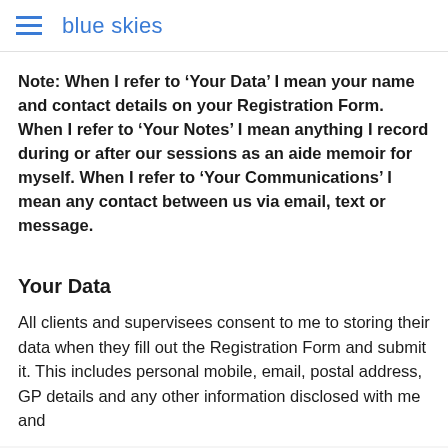blue skies
Note: When I refer to ‘Your Data’ I mean your name and contact details on your Registration Form. When I refer to ‘Your Notes’ I mean anything I record during or after our sessions as an aide memoir for myself. When I refer to ‘Your Communications’ I mean any contact between us via email, text or message.
Your Data
All clients and supervisees consent to me to storing their data when they fill out the Registration Form and submit it. This includes personal mobile, email, postal address, GP details and any other information disclosed with me and